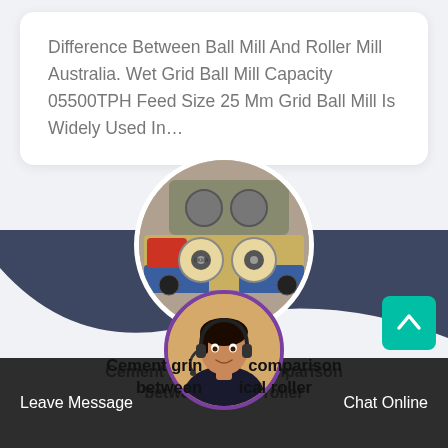Difference Between Ball Mill And Roller Mill Australia. Wet Grid Ball Mill Capacity 05500TPH Feed Size 25 Mm Grid Ball Mill Is Widely Used In…
[Figure (photo): Circular cropped photo of industrial roller mill machinery, showing blue and red industrial equipment with rollers and mechanical components.]
[Figure (photo): Circular avatar photo of a woman wearing a headset, representing a chat support agent.]
Cement grinding comparison between vertical roller
Leave Message
Chat Online